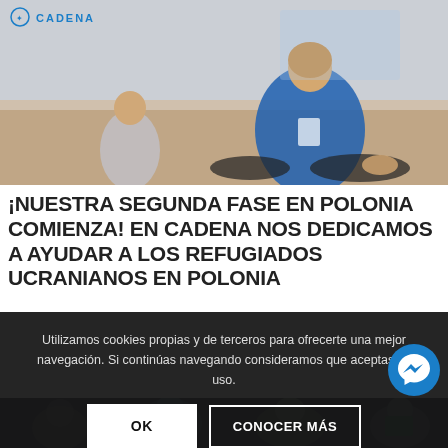[Figure (photo): A female volunteer in a blue jacket sitting on the floor with children in what appears to be a refugee aid center. A world map is visible on the wall in the background. CADENA logo visible in top left.]
¡NUESTRA SEGUNDA FASE EN POLONIA COMIENZA! EN CADENA NOS DEDICAMOS A AYUDAR A LOS REFUGIADOS UCRANIANOS EN POLONIA
Utilizamos cookies propias y de terceros para ofrecerte una mejor navegación. Si continúas navegando consideramos que aceptas su uso.
OK
CONOCER MÁS
[Figure (photo): A group of people outdoors at what appears to be a humanitarian aid event, some wearing blue vests.]